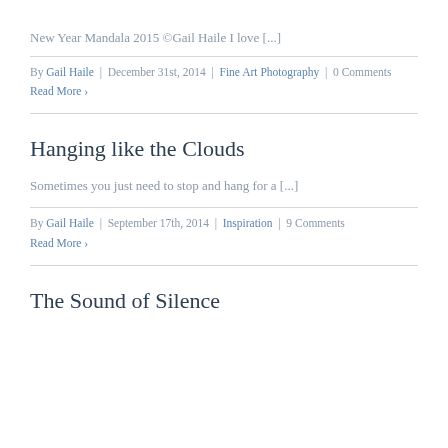New Year Mandala 2015 ©Gail Haile I love [...]
By Gail Haile | December 31st, 2014 | Fine Art Photography | 0 Comments
Read More ›
Hanging like the Clouds
Sometimes you just need to stop and hang for a [...]
By Gail Haile | September 17th, 2014 | Inspiration | 9 Comments
Read More ›
The Sound of Silence